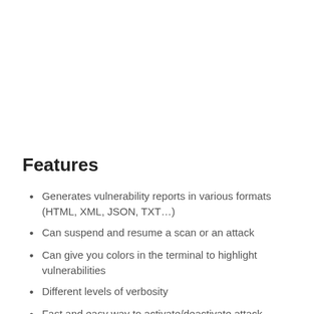Features
Generates vulnerability reports in various formats (HTML, XML, JSON, TXT…)
Can suspend and resume a scan or an attack
Can give you colors in the terminal to highlight vulnerabilities
Different levels of verbosity
Fast and easy way to activate/deactivate attack modules
Adding a payload can be as easy as adding a line to a text file